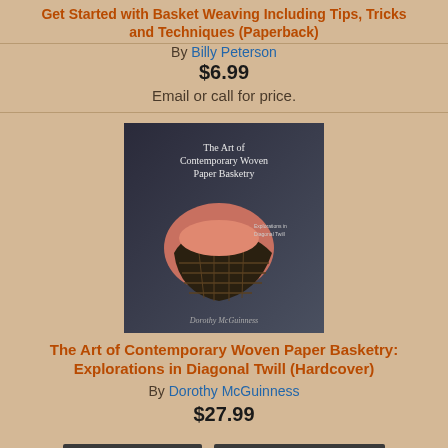Get Started with Basket Weaving Including Tips, Tricks and Techniques (Paperback)
By Billy Peterson
$6.99
Email or call for price.
[Figure (photo): Book cover: The Art of Contemporary Woven Paper Basketry: Explorations in Diagonal Twill by Dorothy McGuinness]
The Art of Contemporary Woven Paper Basketry: Explorations in Diagonal Twill (Hardcover)
By Dorothy McGuinness
$27.99
ADD TO CART
ADD TO WISH LIST
Not in-stock currently-usually arrives within 1-14 business days
[Figure (photo): Partial book cover showing 'WEAVING' text on spine/cover]